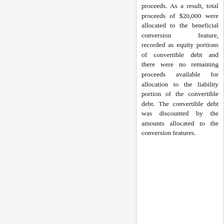proceeds. As a result, total proceeds of $20,000 were allocated to the beneficial conversion feature, recorded as equity portions of convertible debt and there were no remaining proceeds available for allocation to the liability portion of the convertible debt. The convertible debt was discounted by the amounts allocated to the conversion features.